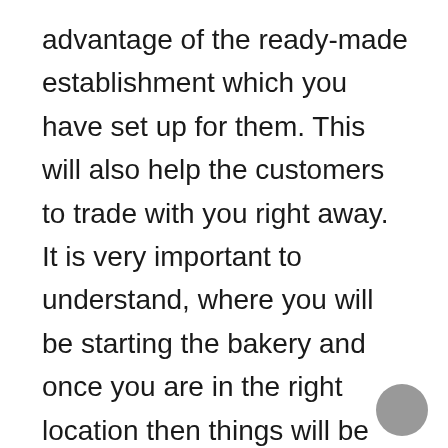advantage of the ready-made establishment which you have set up for them. This will also help the customers to trade with you right away. It is very important to understand, where you will be starting the bakery and once you are in the right location then things will be different.
Deciding the right products